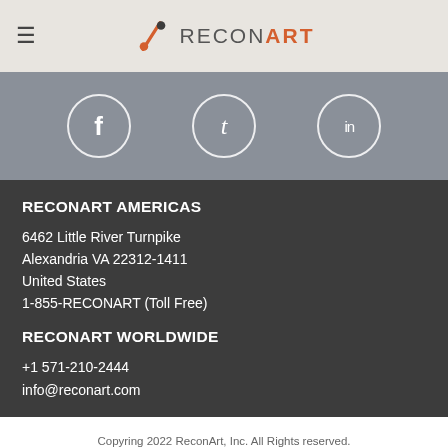RECON ART
[Figure (infographic): Social media icons: Facebook (f), Tumblr (t), LinkedIn (in) in white circles on grey background]
RECONART AMERICAS
6462 Little River Turnpike
Alexandria VA 22312-1411
United States
1-855-RECONART (Toll Free)
RECONART WORLDWIDE
+1 571-210-2444
info@reconart.com
Copyring 2022 ReconArt, Inc. All Rights reserved.
Terms & Conditions | Privacy Policy